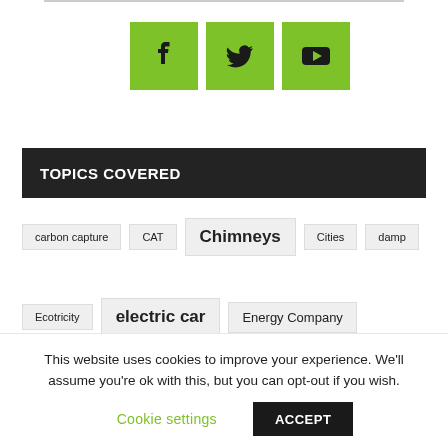[Figure (illustration): Three green square social media icons: Facebook (f), Twitter (bird), YouTube (play button)]
TOPICS COVERED
carbon capture
CAT
Chimneys
Cities
damp
Ecotricity
electric car
Energy Company
Finance
floors
Furniture and furnishings
Gas
This website uses cookies to improve your experience. We'll assume you're ok with this, but you can opt-out if you wish.
Cookie settings  ACCEPT